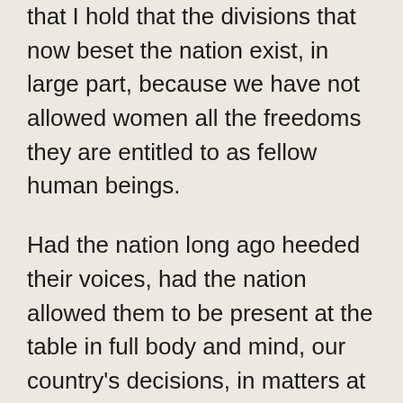that I hold that the divisions that now beset the nation exist, in large part, because we have not allowed women all the freedoms they are entitled to as fellow human beings.
Had the nation long ago heeded their voices, had the nation allowed them to be present at the table in full body and mind, our country's decisions, in matters at home and abroad, would most certainly have been wiser.
As I write, a predominantly white and male cabinet is backing the Trump administration's increasingly war like stance against Iran. A